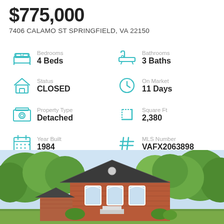$775,000
7406 CALAMO ST SPRINGFIELD, VA 22150
Bedrooms
4 Beds
Bathrooms
3 Baths
Status
CLOSED
On Market
11 Days
Property Type
Detached
Square Ft
2,380
Year Built
1984
MLS Number
VAFX2063898
[Figure (photo): Exterior photo of a two-story brick house with green trees and blue sky background, 7406 Calamo St Springfield VA]